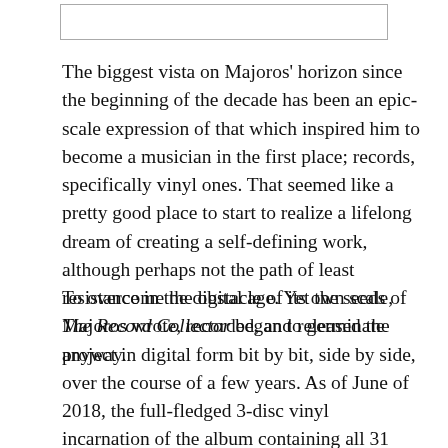[Figure (other): Empty rectangular box outline at top of page]
The biggest vista on Majoros' horizon since the beginning of the decade has been an epic-scale expression of that which inspired him to become a musician in the first place; records, specifically vinyl ones. That seemed like a pretty good place to start to realize a lifelong dream of creating a self-defining work, although perhaps not the path of least resistance in the digital age. Yet the seeds of The Record Collector began to germinate anyway.
To overcome the obstacle of its own scale, Majoros wrote, recorded, and released the project in digital form bit by bit, side by side, over the course of a few years. As of June of 2018, the full-fledged 3-disc vinyl incarnation of the album containing all 31 tracks plus a lavish package that includes extras is